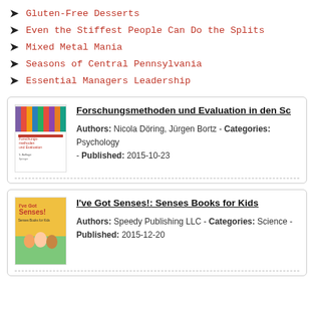Gluten-Free Desserts
Even the Stiffest People Can Do the Splits
Mixed Metal Mania
Seasons of Central Pennsylvania
Essential Managers Leadership
[Figure (illustration): Book cover: Forschungsmethoden und Evaluation - colorful pencils on top, text below on white background, Springer publisher]
Forschungsmethoden und Evaluation in den Sc
Authors: Nicola Döring, Jürgen Bortz - Categories: Psychology - Published: 2015-10-23
[Figure (illustration): Book cover: I've Got Senses! Senses Books for Kids - colorful children illustration with kids on yellow/green background]
I've Got Senses!: Senses Books for Kids
Authors: Speedy Publishing LLC - Categories: Science - Published: 2015-12-20